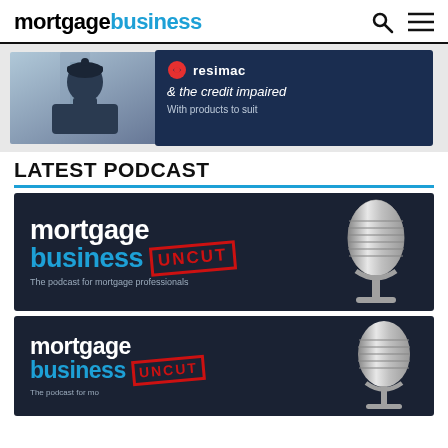mortgagebusiness
[Figure (photo): Advertisement banner showing a woman in a winter hat with a Resimac branded dark blue panel saying '& the credit impaired – With products to suit']
LATEST PODCAST
[Figure (photo): Mortgage Business Uncut podcast card – dark background with white 'mortgage' text, blue 'business' text, red UNCUT stamp badge, and a silver microphone. Tagline: The podcast for mortgage professionals]
[Figure (photo): Second Mortgage Business Uncut podcast card – same style, partially visible at bottom]